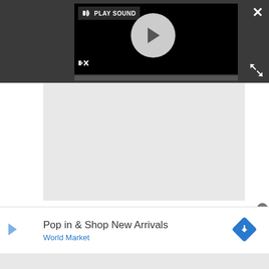[Figure (screenshot): Dark video player UI with play button circle, PLAY SOUND tooltip, muted speaker icon, progress bar, close X button, and expand button. Black background with gray circle play button.]
[Figure (screenshot): Light gray content area placeholder below the video player.]
Pop in & Shop New Arrivals
World Market